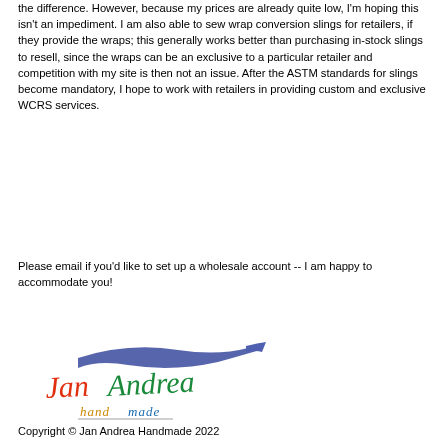the difference. However, because my prices are already quite low, I'm hoping this isn't an impediment. I am also able to sew wrap conversion slings for retailers, if they provide the wraps; this generally works better than purchasing in-stock slings to resell, since the wraps can be an exclusive to a particular retailer and competition with my site is then not an issue. After the ASTM standards for slings become mandatory, I hope to work with retailers in providing custom and exclusive WCRS services.
Please email if you'd like to set up a wholesale account -- I am happy to accommodate you!
[Figure (logo): Jan Andrea Handmade cursive signature logo with colorful text and blue pen stroke above]
Copyright © Jan Andrea Handmade 2022